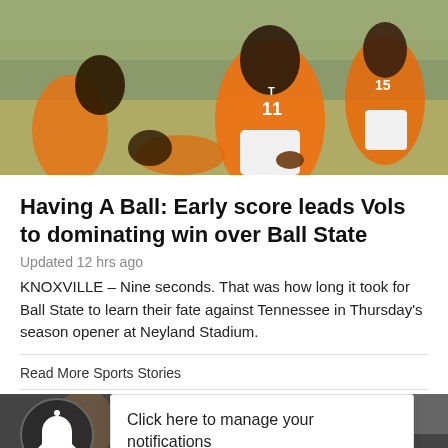[Figure (photo): Tennessee Volunteers football players in orange uniforms on the field during a game]
Having A Ball: Early score leads Vols to dominating win over Ball State
Updated 12 hrs ago
KNOXVILLE – Nine seconds. That was how long it took for Ball State to learn their fate against Tennessee in Thursday's season opener at Neyland Stadium.
Read More Sports Stories
[Figure (photo): Bottom thumbnail images with notification overlay showing 'Click here to manage your notifications']